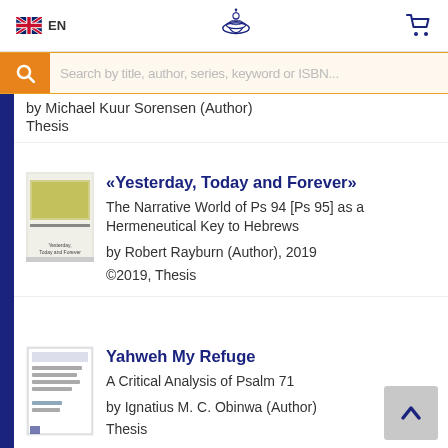EN | [logo] | [cart icon]
Search by title, author, series, keyword or ISBN...
by Michael Kuur Sorensen (Author)
Thesis
«Yesterday, Today and Forever»
The Narrative World of Ps 94 [Ps 95] as a Hermeneutical Key to Hebrews
by Robert Rayburn (Author), 2019
©2019, Thesis
Yahweh My Refuge
A Critical Analysis of Psalm 71
by Ignatius M. C. Obinwa (Author)
Thesis